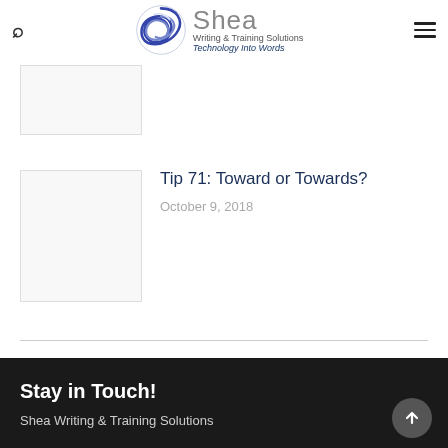Shea Writing & Training Solutions — Technology Into Words
[Figure (screenshot): Thumbnail placeholder for an article above the fold]
Tip 71: Toward or Towards?
October 9, 2018
Stay in Touch!
Shea Writing & Training Solutions